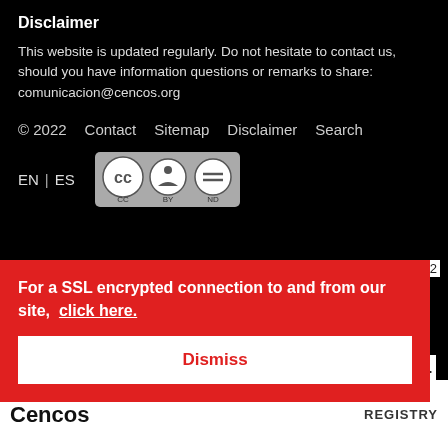Disclaimer
This website is updated regularly. Do not hesitate to contact us, should you have information questions or remarks to share: comunicacion@cencos.org
© 2022   Contact   Sitemap   Disclaimer   Search
EN | ES
[Figure (logo): Creative Commons BY ND license badge]
19/03/22
For a SSL encrypted connection to and from our site,  click here.
Dismiss
AL
[Figure (logo): Cencos logo at bottom left]
REGISTRY